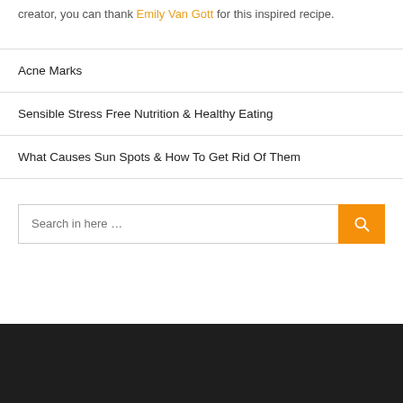creator, you can thank Emily Van Gott for this inspired recipe.
Acne Marks
Sensible Stress Free Nutrition & Healthy Eating
What Causes Sun Spots & How To Get Rid Of Them
Search in here …